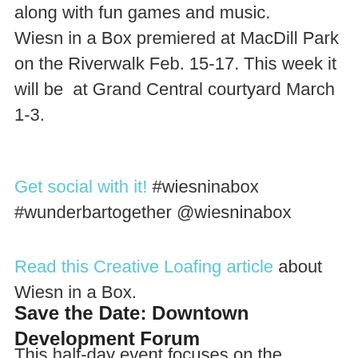along with fun games and music. Wiesn in a Box premiered at MacDill Park on the Riverwalk Feb. 15-17. This week it will be at Grand Central courtyard March 1-3.
Get social with it! #wiesninabox #wunderbartogether @wiesninabox
Read this Creative Loafing article about Wiesn in a Box.
Save the Date: Downtown Development Forum
This half-day event focuses on the